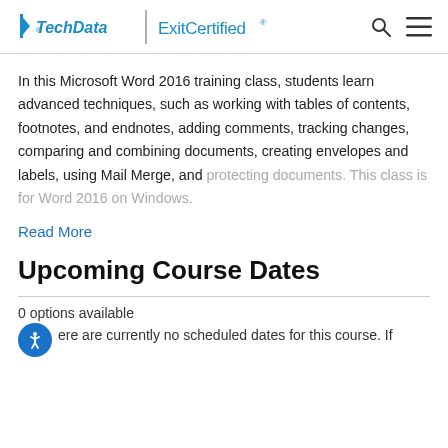TechData | ExitCertified
In this Microsoft Word 2016 training class, students learn advanced techniques, such as working with tables of contents, footnotes, and endnotes, adding comments, tracking changes, comparing and combining documents, creating envelopes and labels, using Mail Merge, and protecting documents. This class is for Word 2016 on Windows.
Read More
Upcoming Course Dates
0 options available
There are currently no scheduled dates for this course. If